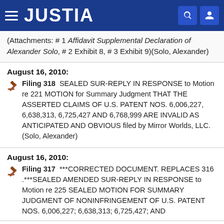JUSTIA
(Attachments: # 1 Affidavit Supplemental Declaration of Alexander Solo, # 2 Exhibit 8, # 3 Exhibit 9)(Solo, Alexander)
August 16, 2010: Filing 318  SEALED SUR-REPLY IN RESPONSE to Motion re 221 MOTION for Summary Judgment THAT THE ASSERTED CLAIMS OF U.S. PATENT NOS. 6,006,227, 6,638,313, 6,725,427 AND 6,768,999 ARE INVALID AS ANTICIPATED AND OBVIOUS filed by Mirror Worlds, LLC. (Solo, Alexander)
August 16, 2010: Filing 317  ***CORRECTED DOCUMENT. REPLACES 316 .***SEALED AMENDED SUR-REPLY IN RESPONSE to Motion re 225 SEALED MOTION FOR SUMMARY JUDGMENT OF NONINFRINGEMENT OF U.S. PATENT NOS. 6,006,227; 6,638,313; 6,725,427; AND